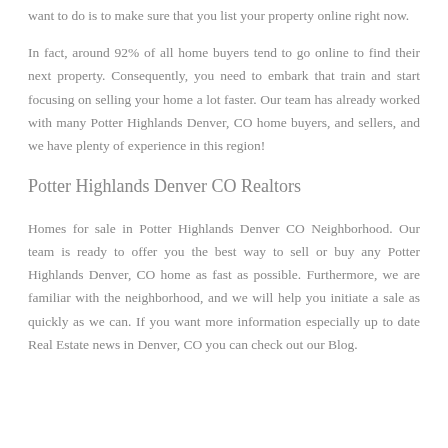want to do is to make sure that you list your property online right now.
In fact, around 92% of all home buyers tend to go online to find their next property. Consequently, you need to embark that train and start focusing on selling your home a lot faster. Our team has already worked with many Potter Highlands Denver, CO home buyers, and sellers, and we have plenty of experience in this region!
Potter Highlands Denver CO Realtors
Homes for sale in Potter Highlands Denver CO Neighborhood. Our team is ready to offer you the best way to sell or buy any Potter Highlands Denver, CO home as fast as possible. Furthermore, we are familiar with the neighborhood, and we will help you initiate a sale as quickly as we can. If you want more information especially up to date Real Estate news in Denver, CO you can check out our Blog.